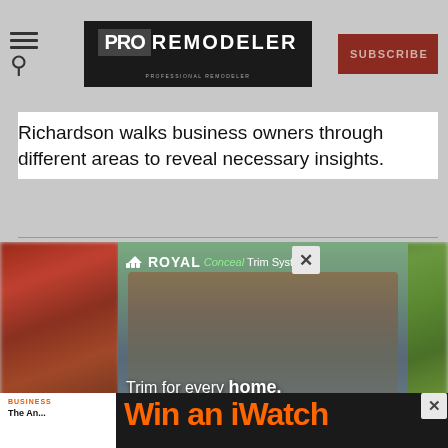PRO REMODELER | SUBSCRIBE
Richardson walks business owners through different areas to reveal necessary insights.
[Figure (screenshot): Royal Building Products advertisement overlay showing a craftsman-style house with dark blue-gray siding. Text reads: ROYAL Conceal Trim System. Trim for every home. Get a Free Sample button in blue. Close (X) button in upper right.]
BUSINESS
The An...
[Figure (screenshot): Second advertisement at bottom showing orange text 'Win an iWatch' on dark background with X close button]